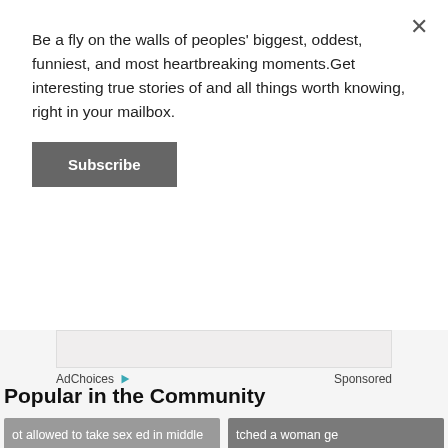Be a fly on the walls of peoples' biggest, oddest, funniest, and most heartbreaking moments.Get interesting true stories of and all things worth knowing, right in your mailbox.
Subscribe
[Figure (other): AdChoices ad banner area with light beige/gray background]
AdChoices  Sponsored
Popular in the Community
[Figure (screenshot): Story card showing text: 'ot allowed to take sex ed in middle s ey helicoptered in high school. Abs . So for a long time I thought penise li...' with title 'People Confess Which Sexual Misconceptions They Held...']
[Figure (screenshot): Story card showing text: 'tched a woman ge mbly line. She was ing when some' with title 'People Describe Greatest Workplace']